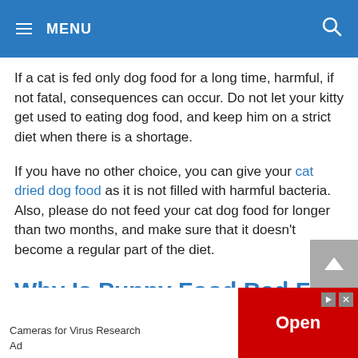MENU
If a cat is fed only dog food for a long time, harmful, if not fatal, consequences can occur. Do not let your kitty get used to eating dog food, and keep him on a strict diet when there is a shortage.
If you have no other choice, you can give your cat dried dog food as it is not filled with harmful bacteria. Also, please do not feed your cat dog food for longer than two months, and make sure that it doesn't become a regular part of the diet.
Why Is Puppy Food Bad For Cats In The Long Term?
Cameras for Virus Research
Ad
Open